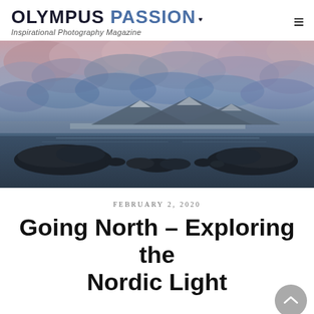OLYMPUS PASSION — Inspirational Photography Magazine
[Figure (photo): Dramatic Nordic landscape photo showing a wide bay or fjord with dark rocky islands in the foreground, snow-capped mountains in the distance, and a dramatic, textured cloudy sky with pink and blue tones at dusk or dawn.]
FEBRUARY 2, 2020
Going North – Exploring the Nordic Light